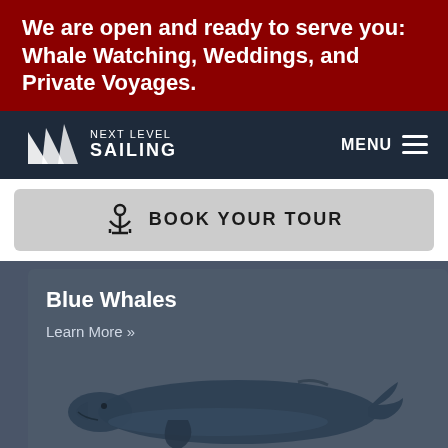We are open and ready to serve you: Whale Watching, Weddings, and Private Voyages.
[Figure (logo): Next Level Sailing logo with triangular sail icon and text NEXT LEVEL SAILING]
MENU
BOOK YOUR TOUR
Blue Whales
Learn More »
[Figure (illustration): Illustration of a blue whale, dark blue-grey coloring, side profile view]